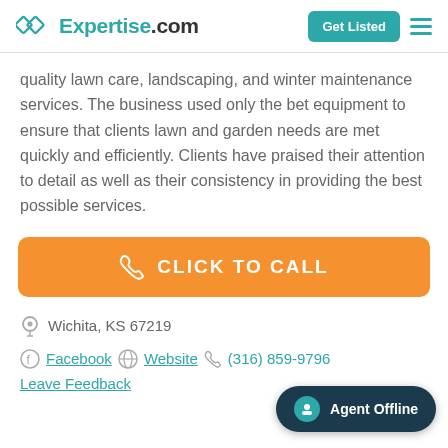Expertise.com
quality lawn care, landscaping, and winter maintenance services. The business used only the bet equipment to ensure that clients lawn and garden needs are met quickly and efficiently. Clients have praised their attention to detail as well as their consistency in providing the best possible services.
[Figure (other): Orange 'CLICK TO CALL' button with phone icon]
Wichita, KS 67219
Facebook  Website  (316) 859-9796  Leave Feedback